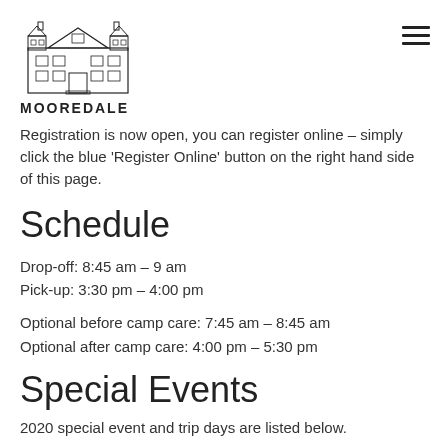[Figure (logo): Mooredale building illustration logo with text MOOREDALE below]
Registration is now open, you can register online – simply click the blue 'Register Online' button on the right hand side of this page.
Schedule
Drop-off:  8:45 am – 9 am
Pick-up:   3:30 pm – 4:00 pm
Optional before camp care: 7:45 am – 8:45 am
Optional after camp care:  4:00 pm – 5:30 pm
Special Events
2020 special event and trip days are listed below.